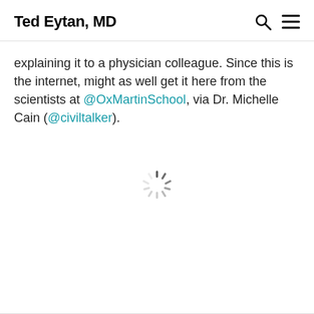Ted Eytan, MD
explaining it to a physician colleague. Since this is the internet, might as well get it here from the scientists at @OxMartinSchool, via Dr. Michelle Cain (@civiltalker).
[Figure (other): Loading spinner animation indicator]